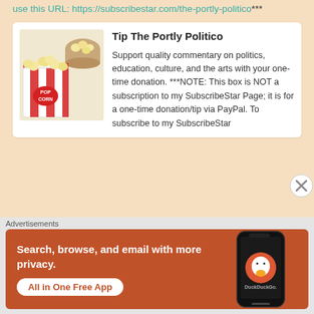use this URL: https://subscribestar.com/the-portly-politico***
[Figure (illustration): Popcorn containers with red and white stripes and a snack bowl in background]
Tip The Portly Politico
Support quality commentary on politics, education, culture, and the arts with your one-time donation. ***NOTE: This box is NOT a subscription to my SubscribeStar Page; it is for a one-time donation/tip via PayPal. To subscribe to my SubscribeStar
Advertisements
[Figure (screenshot): DuckDuckGo advertisement: 'Search, browse, and email with more privacy. All in One Free App' with phone mockup showing DuckDuckGo logo]